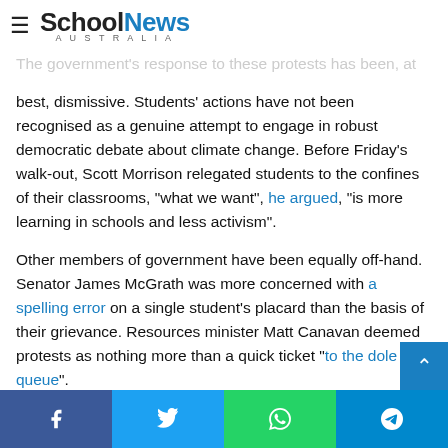School News Australia
The government's response to these protests has been, at best, dismissive. Students' actions have not been recognised as a genuine attempt to engage in robust democratic debate about climate change. Before Friday's walk-out, Scott Morrison relegated students to the confines of their classrooms, "what we want", he argued, "is more learning in schools and less activism".
Other members of government have been equally off-hand. Senator James McGrath was more concerned with a spelling error on a single student's placard than the basis of their grievance. Resources minister Matt Canavan deemed protests as nothing more than a quick ticket "to the dole queue".